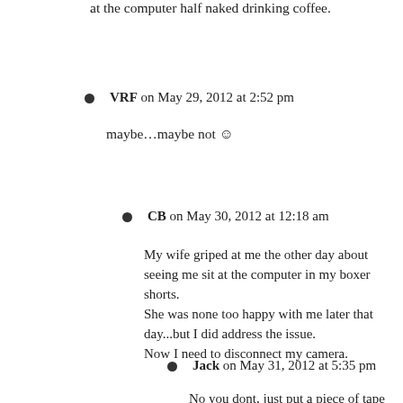at the computer half naked drinking coffee.
VRF on May 29, 2012 at 2:52 pm
maybe…maybe not ☺
CB on May 30, 2012 at 12:18 am
My wife griped at me the other day about seeing me sit at the computer in my boxer shorts.
She was none too happy with me later that day...but I did address the issue.
Now I need to disconnect my camera.
Jack on May 31, 2012 at 5:35 pm
No you dont, just put a piece of tape over the lens.